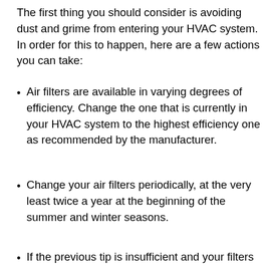The first thing you should consider is avoiding dust and grime from entering your HVAC system. In order for this to happen, here are a few actions you can take:
Air filters are available in varying degrees of efficiency. Change the one that is currently in your HVAC system to the highest efficiency one as recommended by the manufacturer.
Change your air filters periodically, at the very least twice a year at the beginning of the summer and winter seasons.
If the previous tip is insufficient and your filters